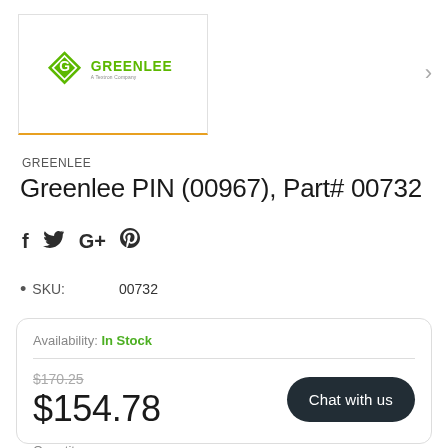[Figure (logo): Greenlee logo — green diamond with G, text GREENLEE, A Textron Company]
GREENLEE
Greenlee PIN (00967), Part# 00732
f  y  G+  (Pinterest icon)
SKU:  00732
Availability: In Stock
$170.25  $154.78
Chat with us
Quantity :